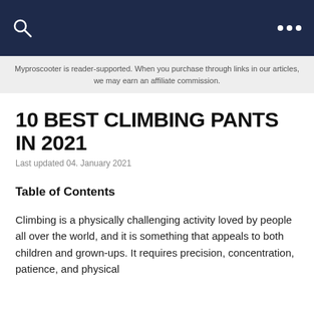Myproscooter is reader-supported. When you purchase through links in our articles, we may earn an affiliate commission.
10 BEST CLIMBING PANTS IN 2021
Last updated 04. January 2021
Table of Contents
Climbing is a physically challenging activity loved by people all over the world, and it is something that appeals to both children and grown-ups. It requires precision, concentration, patience, and physical